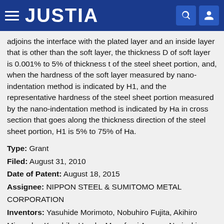JUSTIA
adjoins the interface with the plated layer and an inside layer that is other than the soft layer, the thickness D of soft layer is 0.001% to 5% of thickness t of the steel sheet portion, and, when the hardness of the soft layer measured by nano-indentation method is indicated by H1, and the representative hardness of the steel sheet portion measured by the nano-indentation method is indicated by Ha in cross section that goes along the thickness direction of the steel sheet portion, H1 is 5% to 75% of Ha.
Type: Grant
Filed: August 31, 2010
Date of Patent: August 18, 2015
Assignee: NIPPON STEEL & SUMITOMO METAL CORPORATION
Inventors: Yasuhide Morimoto, Nobuhiro Fujita, Akihiro Miyasaka, Kazuhiko Honda, Masafumi Azuma, Noriyuki